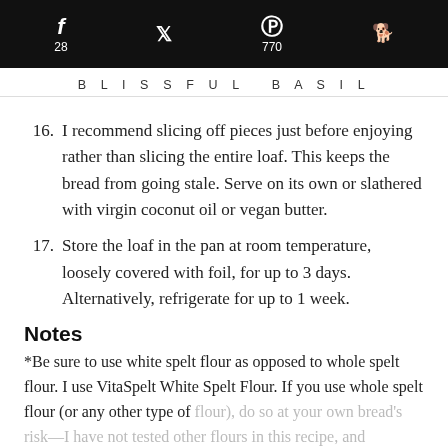f 28  [twitter icon]  p 770  [reddit icon]
BLISSFUL BASIL
16. I recommend slicing off pieces just before enjoying rather than slicing the entire loaf. This keeps the bread from going stale. Serve on its own or slathered with virgin coconut oil or vegan butter.
17. Store the loaf in the pan at room temperature, loosely covered with foil, for up to 3 days. Alternatively, refrigerate for up to 1 week.
Notes
*Be sure to use white spelt flour as opposed to whole spelt flour. I use VitaSpelt White Spelt Flour. If you use whole spelt flour (or any other type of flour), do so at your own bread's risk—I have not tested other flours in this recipe, and therefore